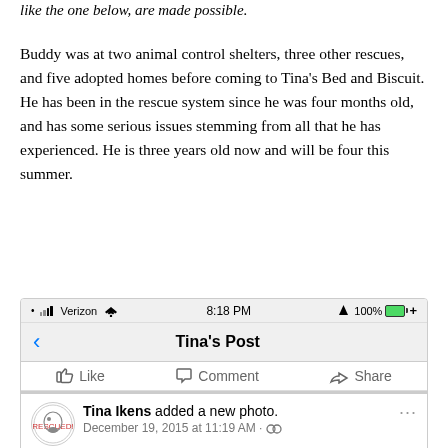like the one below, are made possible.
Buddy was at two animal control shelters, three other rescues, and five adopted homes before coming to Tina's Bed and Biscuit. He has been in the rescue system since he was four months old, and has some serious issues stemming from all that he has experienced. He is three years old now and will be four this summer.
[Figure (screenshot): Screenshot of a Facebook post on an iPhone (Verizon, 8:18 PM, 100% battery). Shows navigation bar with 'Tina's Post', action bar with Like, Comment, Share buttons, and a post by Tina Ikens who added a new photo on December 19, 2015 at 11:19 AM, with caption: Here's Buddy!!! He licked Eric's face all the way home! Such a baby!]